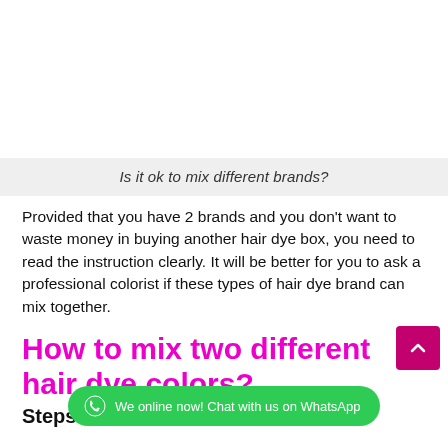Is it ok to mix different brands?
Provided that you have 2 brands and you don't want to waste money in buying another hair dye box, you need to read the instruction clearly. It will be better for you to ask a professional colorist if these types of hair dye brand can mix together.
How to mix two different hair dye colors?
Steps to mix two different hair